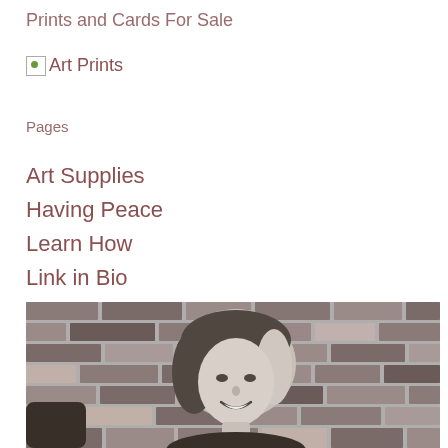Prints and Cards For Sale
[Figure (other): Broken image placeholder with green dot icon labeled Art Prints]
Pages
Art Supplies
Having Peace
Learn How
Link in Bio
[Figure (photo): Black and white photo of a smiling woman with shoulder-length hair, standing in front of a brick wall]